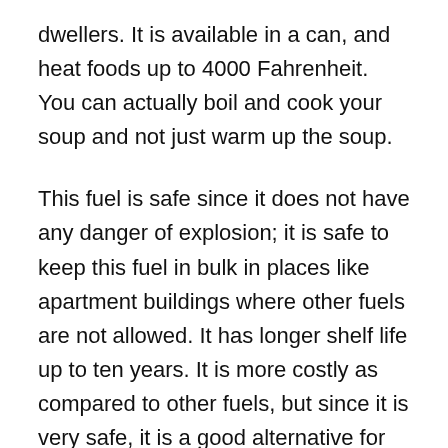dwellers. It is available in a can, and heat foods up to 4000 Fahrenheit. You can actually boil and cook your soup and not just warm up the soup.
This fuel is safe since it does not have any danger of explosion; it is safe to keep this fuel in bulk in places like apartment buildings where other fuels are not allowed. It has longer shelf life up to ten years. It is more costly as compared to other fuels, but since it is very safe, it is a good alternative for apartment dwellers in case of pandemics. If you are storing other type of fuel or stove indoors, make sure that it is stored in the right place and away from the reach of children.